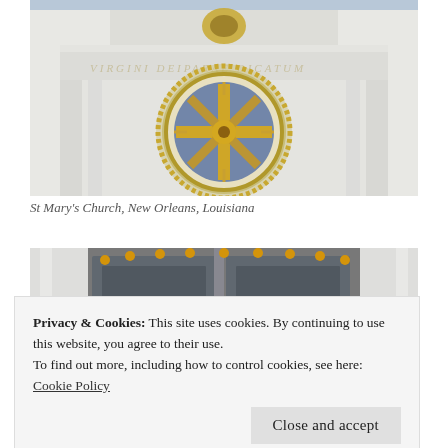[Figure (photo): Facade of St Mary's Church in New Orleans, Louisiana, showing a white neoclassical building front with a large ornate rose window featuring gold and blue stained glass, and Latin inscription 'VIRGINI DEIPARAE DICATUM' across the top.]
St Mary's Church, New Orleans, Louisiana
[Figure (photo): Lower portion of St Mary's Church showing the entrance doors — large dark grey wooden doors with decorative gold-toned round fixtures/lights, flanked by white columns.]
Privacy & Cookies: This site uses cookies. By continuing to use this website, you agree to their use.
To find out more, including how to control cookies, see here: Cookie Policy